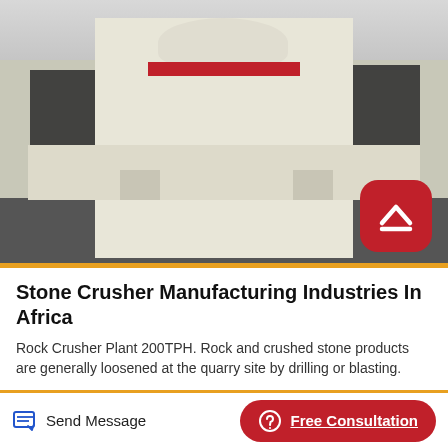[Figure (photo): A large cream/beige VSI (Vertical Shaft Impactor) cone crusher machine on a factory floor. The machine has a round top bowl, a red horizontal stripe band, and is mounted on a wide flat chassis with legs. Black metal cages are visible on left and right sides. The floor is dark concrete. A red rounded-square scroll-up button with a caret icon is overlaid in the bottom-right corner of the photo.]
Stone Crusher Manufacturing Industries In Africa
Rock Crusher Plant 200TPH. Rock and crushed stone products are generally loosened at the quarry site by drilling or blasting.